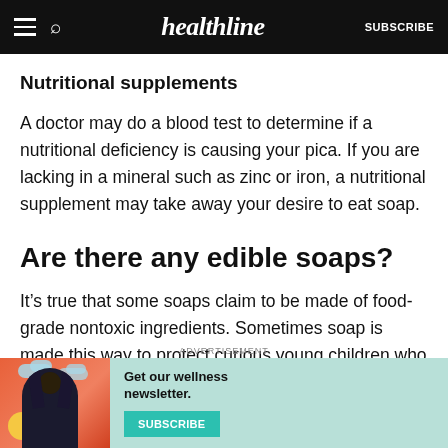healthline  SUBSCRIBE
Nutritional supplements
A doctor may do a blood test to determine if a nutritional deficiency is causing your pica. If you are lacking in a mineral such as zinc or iron, a nutritional supplement may take away your desire to eat soap.
Are there any edible soaps?
It’s true that some soaps claim to be made of food-grade nontoxic ingredients. Sometimes soap is made this way to protect curious young children who like to put soap—and everything else they come across
[Figure (infographic): Advertisement banner with 'Get our wellness newsletter.' text and a SUBSCRIBE button, on a teal/mint background with an illustrated woman figure on the left side against orange/red background.]